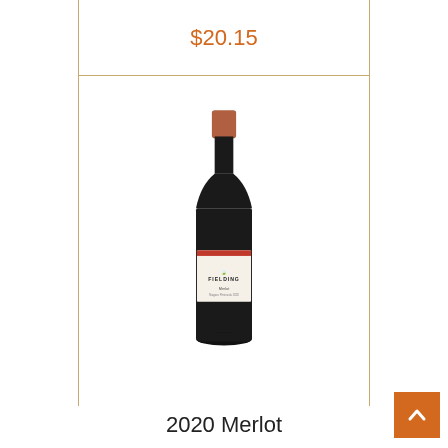$20.15
[Figure (photo): A bottle of Fielding 2020 Merlot red wine with a terracotta/copper foil cap and a white label featuring a red logo and FIELDING text]
2020 Merlot